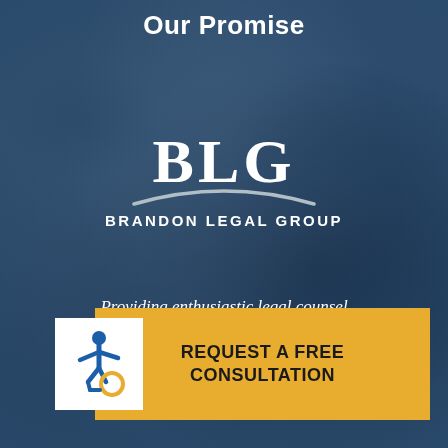Our Promise
[Figure (logo): BLG Brandon Legal Group logo — large serif BLG letters with a swoosh arc beneath, followed by BRANDON LEGAL GROUP text]
Providing enthusiastic legal counsel with confidence, integrity, and compassion.
[Figure (infographic): Wheelchair accessibility icon (ISA symbol) in blue on white background square]
REQUEST A FREE CONSULTATION